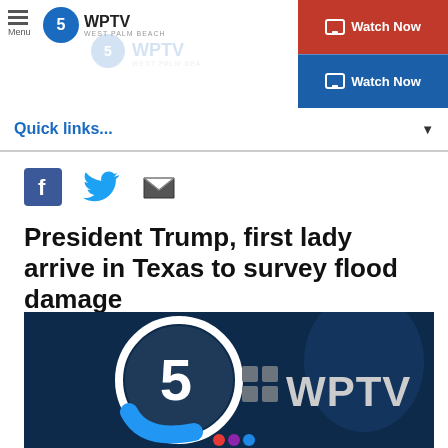WPTV - Menu / Watch Now
Quick links...
[Figure (other): Social sharing icons: Facebook, Twitter, Email]
President Trump, first lady arrive in Texas to survey flood damage
[Figure (other): WPTV Channel 5 logo on dark blue background]